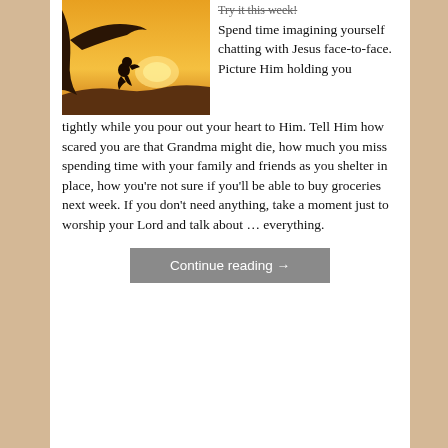[Figure (photo): Silhouette of a person sitting under a tree at sunset with an orange/golden sky background]
Try it this week! Spend time imagining yourself chatting with Jesus face-to-face. Picture Him holding you tightly while you pour out your heart to Him. Tell Him how scared you are that Grandma might die, how much you miss spending time with your family and friends as you shelter in place, how you're not sure if you'll be able to buy groceries next week. If you don't need anything, take a moment just to worship your Lord and talk about … everything.
Continue reading →